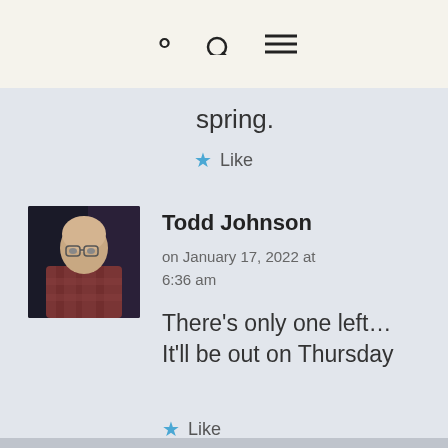[Figure (screenshot): Top navigation bar with search icon and hamburger menu icon on a cream/beige background]
spring.
Like
[Figure (photo): Profile photo of Todd Johnson, a bald man with glasses wearing a plaid shirt]
Todd Johnson
on January 17, 2022 at 6:36 am
There's only one left… It'll be out on Thursday
Like